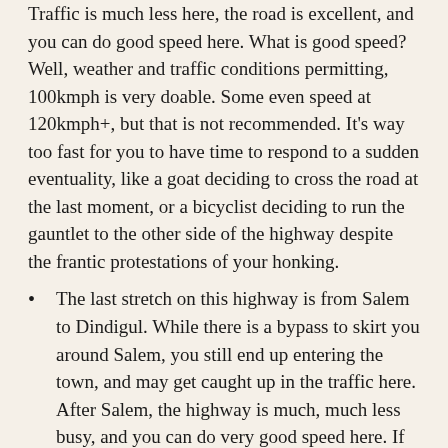Traffic is much less here, the road is excellent, and you can do good speed here. What is good speed? Well, weather and traffic conditions permitting, 100kmph is very doable. Some even speed at 120kmph+, but that is not recommended. It's way too fast for you to have time to respond to a sudden eventuality, like a goat deciding to cross the road at the last moment, or a bicyclist deciding to run the gauntlet to the other side of the highway despite the frantic protestations of your honking.
The last stretch on this highway is from Salem to Dindigul. While there is a bypass to skirt you around Salem, you still end up entering the town, and may get caught up in the traffic here. After Salem, the highway is much, much less busy, and you can do very good speed here. If the weather is good, you can do 100 kmph for extended periods of time. There is nothing here by way of a Cafe Coffee Day or a nice restaurant. There may be something inside the towns you pass along the way, like Namakkal or Karur, but that would mean getting off the highway, and this adds to your